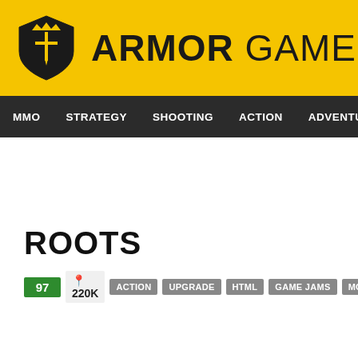[Figure (logo): Armor Games logo with yellow background, shield icon with trident/cross symbol and crown, and bold text ARMOR GAMES]
MMO  STRATEGY  SHOOTING  ACTION  ADVENTURE  P
ROOTS
97  220K  ACTION  UPGRADE  HTML  GAME JAMS  MOUSE ONLY